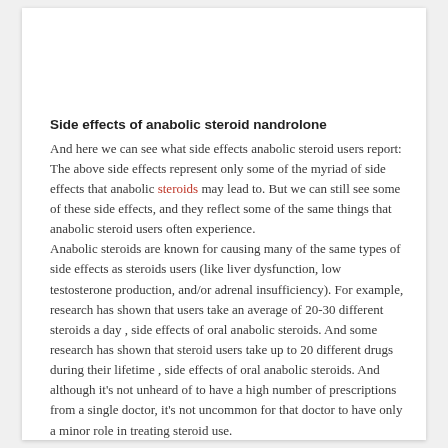Side effects of anabolic steroid nandrolone
And here we can see what side effects anabolic steroid users report: The above side effects represent only some of the myriad of side effects that anabolic steroids may lead to. But we can still see some of these side effects, and they reflect some of the same things that anabolic steroid users often experience.
Anabolic steroids are known for causing many of the same types of side effects as steroids users (like liver dysfunction, low testosterone production, and/or adrenal insufficiency). For example, research has shown that users take an average of 20-30 different steroids a day , side effects of oral anabolic steroids. And some research has shown that steroid users take up to 20 different drugs during their lifetime , side effects of oral anabolic steroids. And although it's not unheard of to have a high number of prescriptions from a single doctor, it's not uncommon for that doctor to have only a minor role in treating steroid use.
Although steroids contain estrogen, there are many other